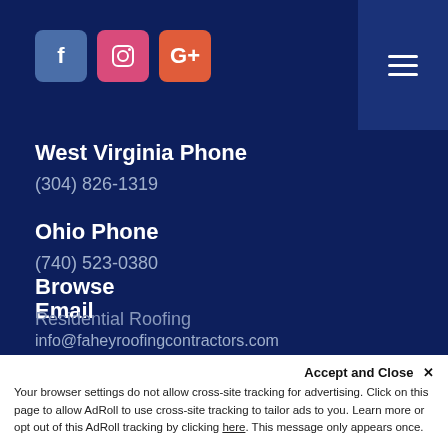[Figure (screenshot): Social media icons: Facebook (blue square with f), Instagram (pink square with camera icon), Google+ (red-orange square with G+)]
West Virginia Phone
(304) 826-1319
Ohio Phone
(740) 523-0380
Email
info@faheyroofingcontractors.com
Browse
Residential Roofing
Accept and Close ✕
Your browser settings do not allow cross-site tracking for advertising. Click on this page to allow AdRoll to use cross-site tracking to tailor ads to you. Learn more or opt out of this AdRoll tracking by clicking here. This message only appears once.